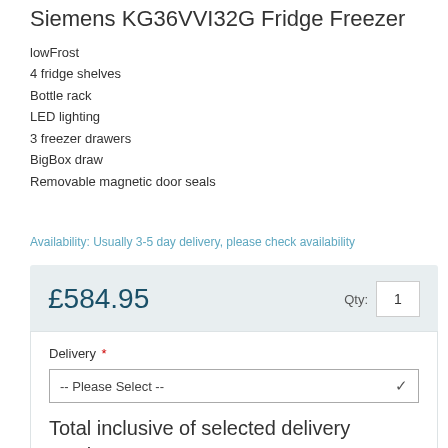Siemens KG36VVI32G Fridge Freezer
lowFrost
4 fridge shelves
Bottle rack
LED lighting
3 freezer drawers
BigBox draw
Removable magnetic door seals
Availability: Usually 3-5 day delivery, please check availability
£584.95  Qty: 1
Delivery *  -- Please Select --
Total inclusive of selected delivery service:
£584.95